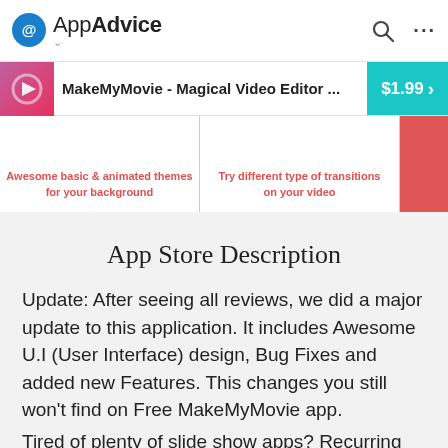AppAdvice
[Figure (screenshot): AppAdvice website header with logo, search icon, and menu. App bar showing MakeMyMovie - Magical Video Editor app icon, title, and $1.99 price button. Screenshot strip showing app features with red strikethrough text labels.]
App Store Description
Update: After seeing all reviews, we did a major update to this application. It includes Awesome U.I (User Interface) design, Bug Fixes and added new Features. This changes you still won't find on Free MakeMyMovie app.
Tired of plenty of slide show apps? Recurring